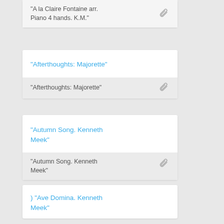“A la Claire Fontaine arr. Piano 4 hands. K.M.”
“Afterthoughts: Majorette”
“Afterthoughts: Majorette”
“Autumn Song. Kenneth Meek”
“Autumn Song. Kenneth Meek”
) “Ave Domina. Kenneth Meek”
) “Ave Domina. Kenneth Meek”